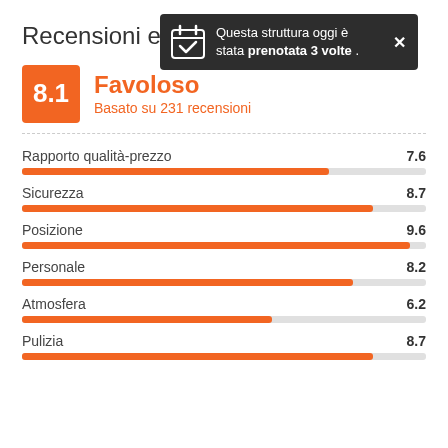[Figure (infographic): Dark tooltip popup with calendar/checkmark icon saying 'Questa struttura oggi è stata prenotata 3 volte .' with an X close button]
Recensioni e p
8.1 Favoloso
Basato su 231 recensioni
[Figure (bar-chart): Rating breakdown]